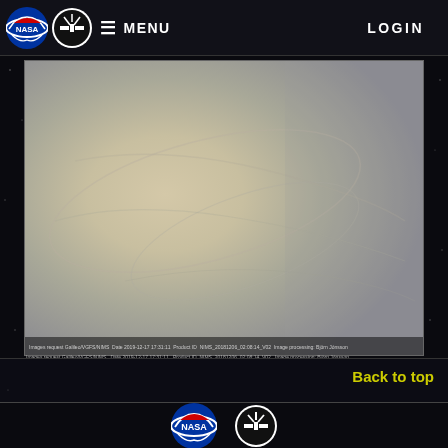NASA | MENU | LOGIN
[Figure (photo): Grayscale/beige-toned image of Venus cloud cover, showing subtle atmospheric swirl patterns. Caption at bottom reads image metadata including date and image processing credit.]
Images request Galileo/VGFS/NIMS  Date 2019-12-17 17:31:11  Product ID  NIMS_20181206_02:08:14_V02  Image processing: Björn Jónsson
Back to top
[Figure (logo): NASA meatball logo (blue circle with red chevron and white NASA text) and a mission logo (white circle with satellite/propeller silhouette on black background) in the footer.]